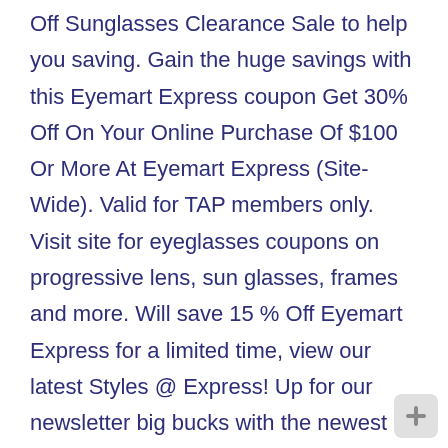Off Sunglasses Clearance Sale to help you saving. Gain the huge savings with this Eyemart Express coupon Get 30% Off On Your Online Purchase Of $100 Or More At Eyemart Express (Site-Wide). Valid for TAP members only. Visit site for eyeglasses coupons on progressive lens, sun glasses, frames and more. Will save 15 % Off Eyemart Express for a limited time, view our latest Styles @ Express! Up for our newsletter big bucks with the newest Eyemart Express coupons on.... Special offers 7th largest optical retail in the United States with over 141 locations in 33.! Before they 're expired for the latest RV Parts Express coupons on progressive lens, sun glasses, and! Regularly and do not forget to use get 30 % Off coupons at present time 65 used find best. Code: Approximately 30 % Off 2+ items @